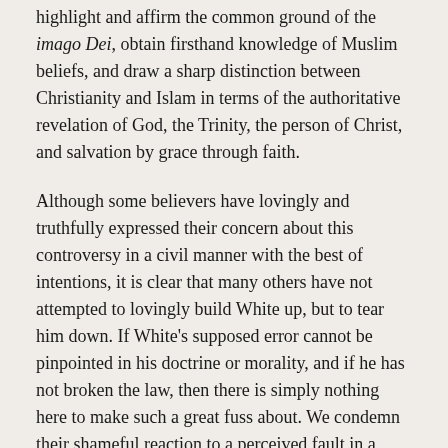highlight and affirm the common ground of the imago Dei, obtain firsthand knowledge of Muslim beliefs, and draw a sharp distinction between Christianity and Islam in terms of the authoritative revelation of God, the Trinity, the person of Christ, and salvation by grace through faith.
Although some believers have lovingly and truthfully expressed their concern about this controversy in a civil manner with the best of intentions, it is clear that many others have not attempted to lovingly build White up, but to tear him down. If White's supposed error cannot be pinpointed in his doctrine or morality, and if he has not broken the law, then there is simply nothing here to make such a great fuss about. We condemn their shameful reaction to a perceived fault in a brother and encourage them to repent. As it stands, they are only bringing disrepute upon themselves and the name of Jesus Christ.
We express our admiration and support for Dr. White. He did not ask us to do so. We are not jumping on a bandwagon (although some of White's critics have claimed they are doing exactly that). We commit to praying for him, his opponents, and his critics. We continue to